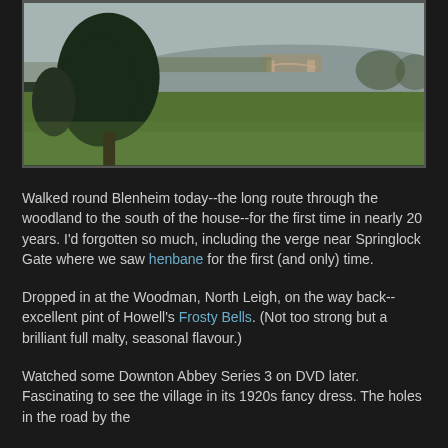[Figure (photo): Landscape photograph of Blenheim Palace grounds showing a lake with a bridge in the background, large evergreen trees on the left, and a wide expanse of green lawn in the foreground under an overcast grey sky.]
Walked round Blenheim today--the long route through the woodland to the south of the house--for the first time in nearly 20 years. I'd forgotten so much, including the verge near Springlock Gate where we saw henbane for the first (and only) time.
Dropped in at the Woodman, North Leigh, on the way back--excellent pint of Howell's Frosty Bells. (Not too strong but a brilliant full malty, seasonal flavour.)
Watched some Downton Abbey Series 3 on DVD later. Fascinating to see the village in its 1920s fancy dress. The holes in the road by the